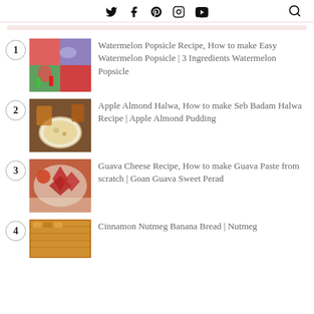Social icons: Twitter, Facebook, Pinterest, Instagram, YouTube, Search
1. Watermelon Popsicle Recipe, How to make Easy Watermelon Popsicle | 3 Ingredients Watermelon Popsicle
2. Apple Almond Halwa, How to make Seb Badam Halwa Recipe | Apple Almond Pudding
3. Guava Cheese Recipe, How to make Guava Paste from scratch | Goan Guava Sweet Perad
4. Cinnamon Nutmeg Banana Bread | Nutmeg